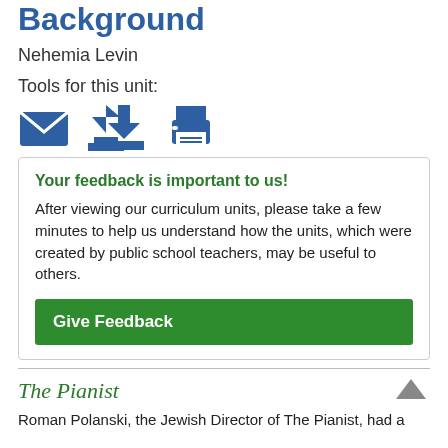Background
Nehemia Levin
Tools for this unit:
[Figure (infographic): Three blue icons: envelope (email), download arrow, and printer]
Your feedback is important to us! After viewing our curriculum units, please take a few minutes to help us understand how the units, which were created by public school teachers, may be useful to others.
Give Feedback
The Pianist
Roman Polanski, the Jewish Director of The Pianist, had a